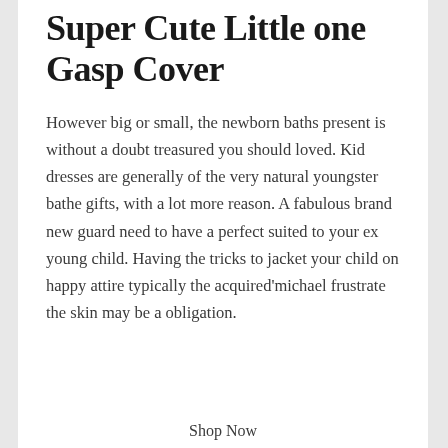Super Cute Little one Gasp Cover
However big or small, the newborn baths present is without a doubt treasured you should loved. Kid dresses are generally of the very natural youngster bathe gifts, with a lot more reason. A fabulous brand new guard need to have a perfect suited to your ex young child. Having the tricks to jacket your child on happy attire typically the acquired'michael frustrate the skin may be a obligation.
Shop Now